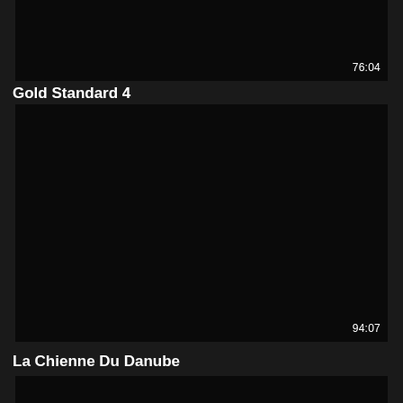[Figure (photo): Dark/black video thumbnail with duration 76:04 shown in bottom right corner]
Gold Standard 4
[Figure (photo): Dark/black video thumbnail with duration 94:07 shown in bottom right corner]
La Chienne Du Danube
[Figure (photo): Dark/black video thumbnail, partially visible at bottom of page]